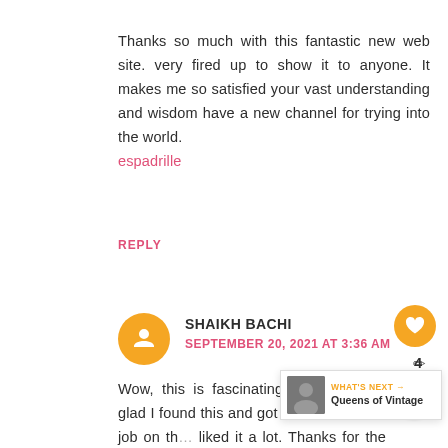Thanks so much with this fantastic new web site. very fired up to show it to anyone. It makes me so satisfied your vast understanding and wisdom have a new channel for trying into the world. espadrille
REPLY
SHAIKH BACHI
SEPTEMBER 20, 2021 AT 3:36 AM
Wow, this is fascinating reading. I am glad I found this and got to read it. Great job on th... liked it a lot. Thanks for the great and unique... sleeping pills europe